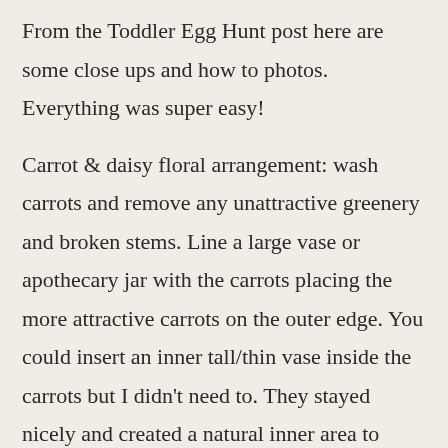From the Toddler Egg Hunt post here are some close ups and how to photos.  Everything was super easy!
Carrot & daisy floral arrangement: wash carrots and remove any unattractive greenery and broken stems. Line a large vase or apothecary jar with the carrots placing the more attractive carrots on the outer edge. You could insert an inner tall/thin vase inside the carrots but I didn't need to.  They stayed nicely and created a natural inner area to place the daisies.  This was an awesome impact for $10 (carrots were 3 bunches for $5 and daisies were $5).  Fill with water.  I bought the carrots & made this the day before the event and it still